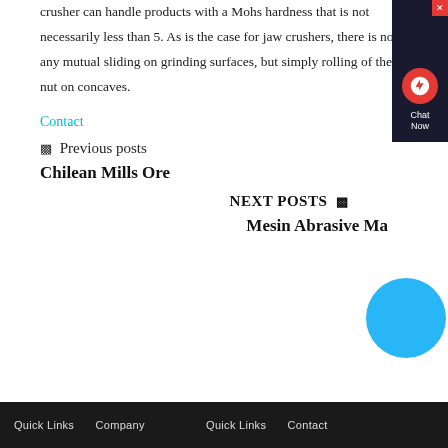crusher can handle products with a Mohs hardness that is not necessarily less than 5. As is the case for jaw crushers, there is not any mutual sliding on grinding surfaces, but simply rolling of the nut on concaves.
Contact
◁ Previous posts
Chilean Mills Ore
NEXT POSTS ▷
Mesin Abrasive Ma…
[Figure (other): Chat Now widget with headset icon on dark background with red close button]
[Figure (other): Blue circle overlay partially covering the chat widget and next post title area]
Quick Links  Company      Quick Links  Contact